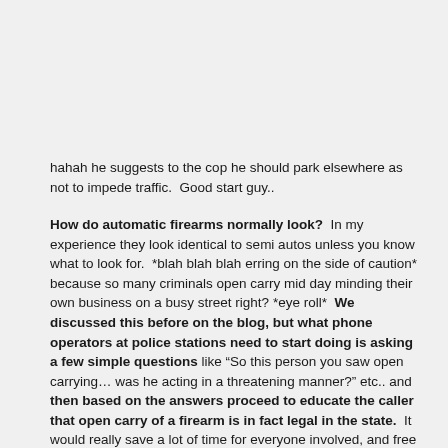hahah he suggests to the cop he should park elsewhere as not to impede traffic.  Good start guy..
How do automatic firearms normally look?  In my experience they look identical to semi autos unless you know what to look for.  *blah blah blah erring on the side of caution* because so many criminals open carry mid day minding their own business on a busy street right? *eye roll*  We discussed this before on the blog, but what phone operators at police stations need to start doing is asking a few simple questions like “So this person you saw open carrying… was he acting in a threatening manner?” etc.. and then based on the answers proceed to educate the caller that open carry of a firearm is in fact legal in the state.  It would really save a lot of time for everyone involved, and free the police up to deal with situations that are of actual importance.